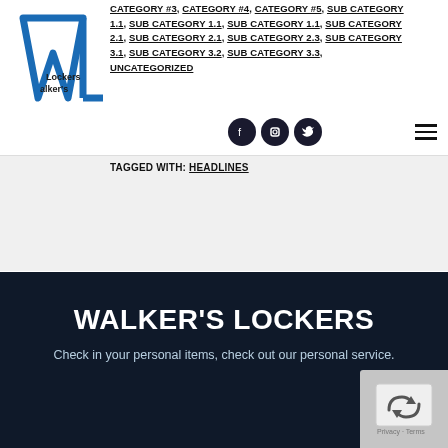[Figure (logo): Walker's Lockers logo with stylized W and L letters]
CATEGORY #3, CATEGORY #4, CATEGORY #5, SUB CATEGORY 1.1, SUB CATEGORY 1.1, SUB CATEGORY 1.1, SUB CATEGORY 2.1, SUB CATEGORY 2.1, SUB CATEGORY 2.3, SUB CATEGORY 3.1, SUB CATEGORY 3.2, SUB CATEGORY 3.3, UNCATEGORIZED
TAGGED WITH: HEADLINES
WALKER'S LOCKERS
Check in your personal items, check out our personal service.